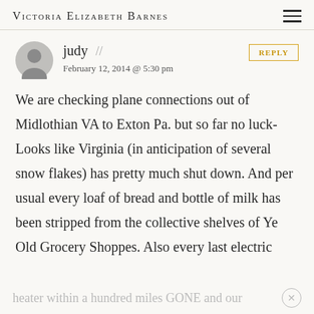Victoria Elizabeth Barnes
judy // February 12, 2014 @ 5:30 pm
We are checking plane connections out of Midlothian VA to Exton Pa. but so far no luck- Looks like Virginia (in anticipation of several snow flakes) has pretty much shut down. And per usual every loaf of bread and bottle of milk has been stripped from the collective shelves of Ye Old Grocery Shoppes. Also every last electric
heater within a hundred miles GONE and our